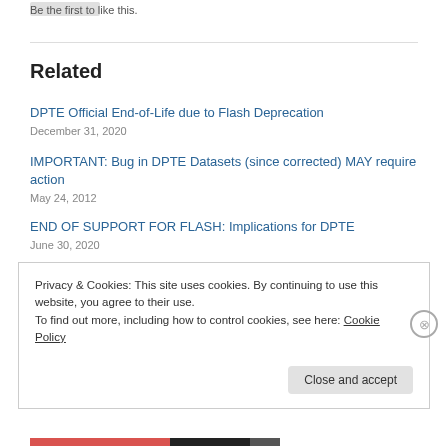Be the first to like this.
Related
DPTE Official End-of-Life due to Flash Deprecation
December 31, 2020
IMPORTANT: Bug in DPTE Datasets (since corrected) MAY require action
May 24, 2012
END OF SUPPORT FOR FLASH: Implications for DPTE
June 30, 2020
Privacy & Cookies: This site uses cookies. By continuing to use this website, you agree to their use.
To find out more, including how to control cookies, see here: Cookie Policy
Close and accept